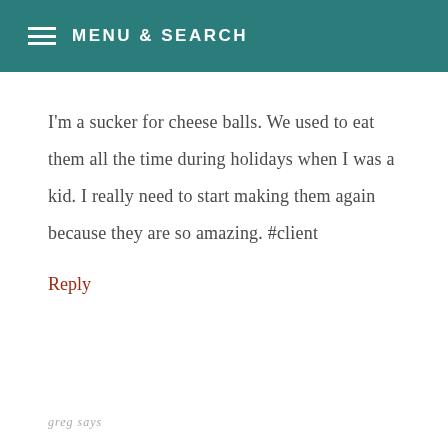MENU & SEARCH
I'm a sucker for cheese balls. We used to eat them all the time during holidays when I was a kid. I really need to start making them again because they are so amazing. #client
Reply
greg says